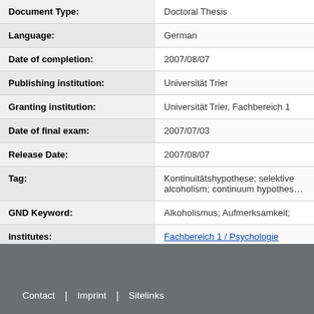| Field | Value |
| --- | --- |
| Document Type: | Doctoral Thesis |
| Language: | German |
| Date of completion: | 2007/08/07 |
| Publishing institution: | Universität Trier |
| Granting institution: | Universität Trier, Fachbereich 1 |
| Date of final exam: | 2007/07/03 |
| Release Date: | 2007/08/07 |
| Tag: | Kontinuitätshypothese; selektive alcoholism; continuum hypothes… |
| GND Keyword: | Alkoholismus; Aufmerksamkeit; |
| Institutes: | Fachbereich 1 / Psychologie |
| Dewey Decimal Classification: | 1 Philosophie und Psychologie |
Contact | Imprint | Sitelinks